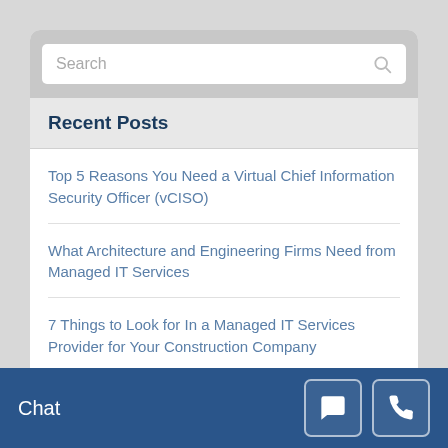Search
Recent Posts
Top 5 Reasons You Need a Virtual Chief Information Security Officer (vCISO)
What Architecture and Engineering Firms Need from Managed IT Services
7 Things to Look for In a Managed IT Services Provider for Your Construction Company
How to Prevent a Cyber Attack with a Simple Phone
The Most Shocking Cybersecurity Threat to Your
Chat